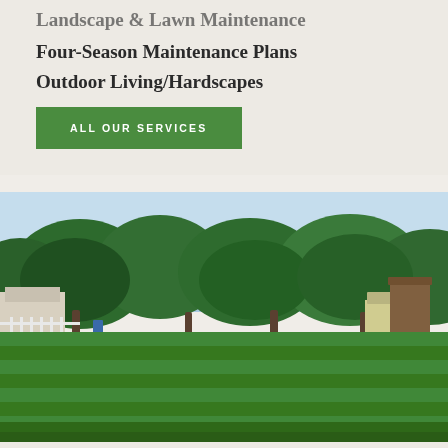Landscape & Lawn Maintenance
Four-Season Maintenance Plans
Outdoor Living/Hardscapes
ALL OUR SERVICES
[Figure (photo): Professionally mowed lawn with striped mowing pattern, large mature trees in background, white fence on left, outbuildings on right, blue sky visible through tree canopy]